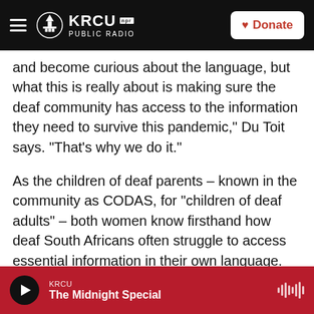KRCU NPR PUBLIC RADIO | Donate
and become curious about the language, but what this is really about is making sure the deaf community has access to the information they need to survive this pandemic," Du Toit says. "That's why we do it."
As the children of deaf parents – known in the community as CODAS, for "children of deaf adults" – both women know firsthand how deaf South Africans often struggle to access essential information in their own language. Like many deaf South Africans, Du Toit's mother, for instance, doesn't read English, making it nearly impossible for
KRCU | The Midnight Special